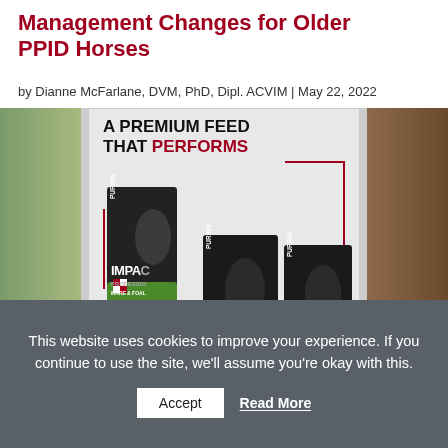Management Changes for Older PPID Horses
by Dianne McFarlane, DVM, PhD, Dipl. ACVIM | May 22, 2022
[Figure (illustration): Purina Impact Professional feed advertisement showing three bags of horse feed (Mare & Foal - green, Performance - teal, Senior - yellow). Text reads: A PREMIUM FEED THAT PERFORMS. LEARN MORE »]
This website uses cookies to improve your experience. If you continue to use the site, we'll assume you're okay with this.